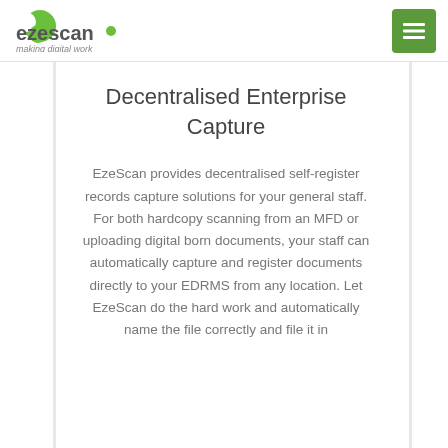ezescan — making digital work
Decentralised Enterprise Capture
EzeScan provides decentralised self-register records capture solutions for your general staff. For both hardcopy scanning from an MFD or uploading digital born documents, your staff can automatically capture and register documents directly to your EDRMS from any location. Let EzeScan do the hard work and automatically name the file correctly and file it in